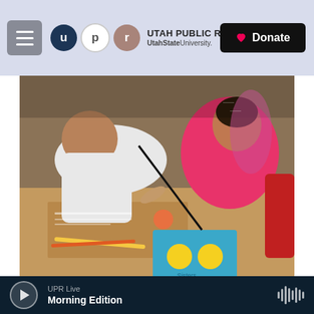UTAH PUBLIC RADIO | UtahState University | Donate
[Figure (photo): Fifth-graders leaning over desks working together on a Common Core reading lesson, with pencils and a blue textbook visible]
Fifth-graders discuss the meanings of difficult words during a Common Core-inspired reading lesson.
The last in our four-part series on reading in the Common Core era.
All week we've been reporting on big changes in
UPR Live  Morning Edition